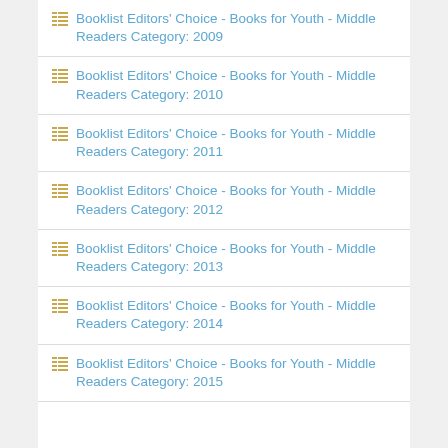Booklist Editors' Choice - Books for Youth - Middle Readers Category: 2009
Booklist Editors' Choice - Books for Youth - Middle Readers Category: 2010
Booklist Editors' Choice - Books for Youth - Middle Readers Category: 2011
Booklist Editors' Choice - Books for Youth - Middle Readers Category: 2012
Booklist Editors' Choice - Books for Youth - Middle Readers Category: 2013
Booklist Editors' Choice - Books for Youth - Middle Readers Category: 2014
Booklist Editors' Choice - Books for Youth - Middle Readers Category: 2015